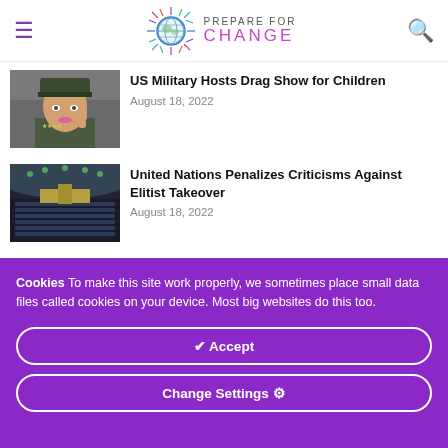Prepare For Change
[Figure (photo): Military officer in uniform with pink lipstick]
US Military Hosts Drag Show for Children
August 18, 2022
[Figure (photo): United Nations General Assembly hall interior]
United Nations Penalizes Criticisms Against Elitist Takeover
August 18, 2022
Cookies To make this site work properly, we sometimes place small data files called cookies on your device. Most big websites do this too.
✔ Accept
Change Settings ⚙